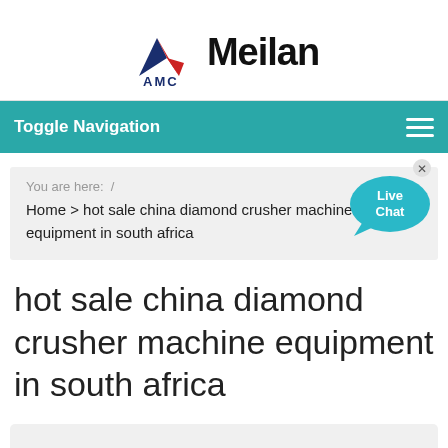[Figure (logo): AMC Meilan company logo with triangular arrow icon]
Toggle Navigation
You are here:  /
Home > hot sale china diamond crusher machine equipment in south africa
[Figure (illustration): Live Chat speech bubble button]
hot sale china diamond crusher machine equipment in south africa
Have Questions or Need a Quote?